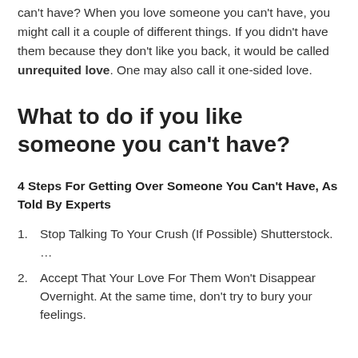can't have? When you love someone you can't have, you might call it a couple of different things. If you didn't have them because they don't like you back, it would be called unrequited love. One may also call it one-sided love.
What to do if you like someone you can't have?
4 Steps For Getting Over Someone You Can't Have, As Told By Experts
Stop Talking To Your Crush (If Possible) Shutterstock. …
Accept That Your Love For Them Won't Disappear Overnight. At the same time, don't try to bury your feelings.